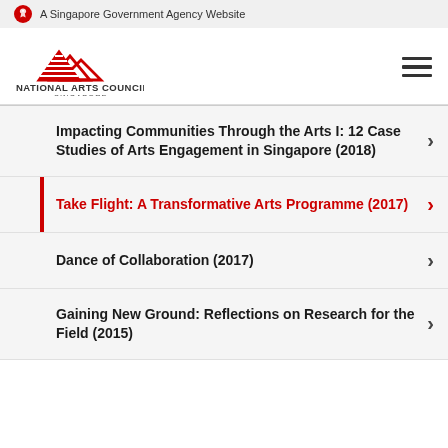A Singapore Government Agency Website
[Figure (logo): National Arts Council Singapore logo with red mountain/wave graphic and text]
Impacting Communities Through the Arts I: 12 Case Studies of Arts Engagement in Singapore (2018)
Take Flight: A Transformative Arts Programme (2017)
Dance of Collaboration (2017)
Gaining New Ground: Reflections on Research for the Field (2015)